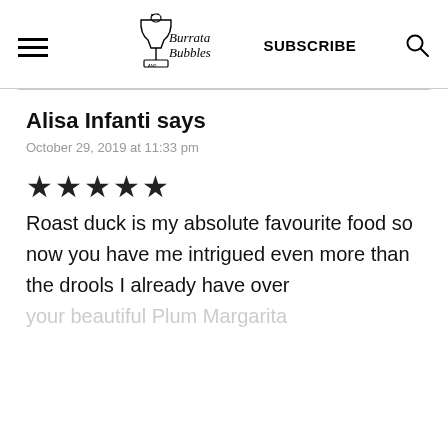Burrata and Bubbles | SUBSCRIBE
Alisa Infanti says
October 29, 2019 at 11:33 pm
★★★★★
Roast duck is my absolute favourite food so now you have me intrigued even more than the drools I already have over your beautiful Plum Margarita